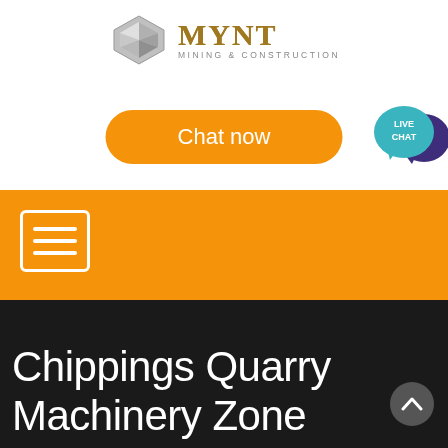[Figure (logo): MYNT Mining & Construction logo with geometric silver diamond shape and gold serif text]
[Figure (screenshot): Orange 'Chat now' rounded button]
[Figure (illustration): Teal speech bubble with 'LIVE CHAT' text and dark purple speech bubble overlapping]
[Figure (illustration): Orange navigation bar with white hamburger menu icon (three horizontal lines in a bordered box)]
Chippings Quarry Machinery Zone